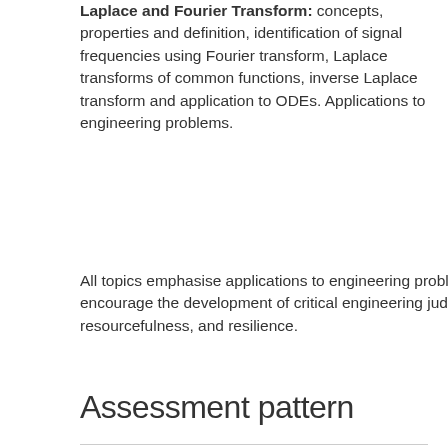Laplace and Fourier Transform: concepts, properties and definition, identification of signal frequencies using Fourier transform, Laplace transforms of common functions, inverse Laplace transform and application to ODEs. Applications to engineering problems.
All topics emphasise applications to engineering problems and encourage the development of critical engineering judgment, resourcefulness, and resilience.
Assessment pattern